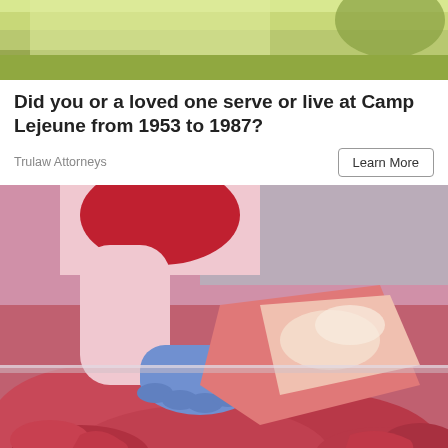[Figure (photo): Top portion of advertisement showing olive/green colored background with partial decorative elements]
Did you or a loved one serve or live at Camp Lejeune from 1953 to 1987?
Trulaw Attorneys
Learn More
[Figure (photo): Butcher with blue latex gloves handling a large cut of raw beef/meat at a butcher counter display case with various cuts of red meat visible]